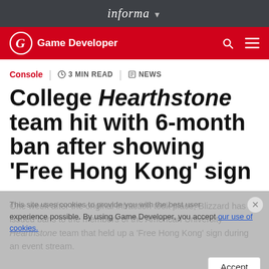informa
Game Developer
Console  |  3 MIN READ  |  NEWS
College Hearthstone team hit with 6-month ban after showing 'Free Hong Kong' sign
One week after the original infraction took place, Blizzard has issued bans to the members of the American University Hearthstone team that held up a 'Free Hong Kong' sign during an event stream.